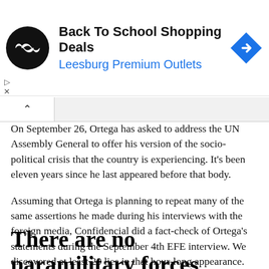[Figure (infographic): Advertisement banner: Back To School Shopping Deals - Leesburg Premium Outlets, with circular logo and blue arrow icon]
On September 26, Ortega has asked to address the UN Assembly General to offer his version of the socio-political crisis that the country is experiencing. It’s been eleven years since he last appeared before that body.
Assuming that Ortega is planning to repeat many of the same assertions he made during his interviews with the foreign media, Confidencial did a fact-check of Ortega’s statements during the September 4th EFE interview. We discovered at least 20 lies in that hour-long appearance. Here are the 10 most significant ones:
There are no paramilitary forces under Sandinista